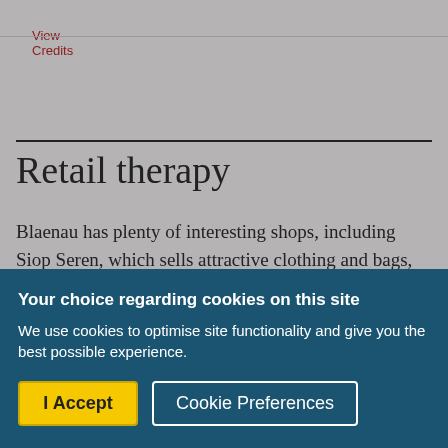View Credits
Retail therapy
Blaenau has plenty of interesting shops, including Siop Seren, which sells attractive clothing and bags, and Siop y Gloddfa which is full of Welsh and local gifts. Siop Antur Stiniog, in the town centre, sells a
Your choice regarding cookies on this site
We use cookies to optimise site functionality and give you the best possible experience.
I Accept
Cookie Preferences